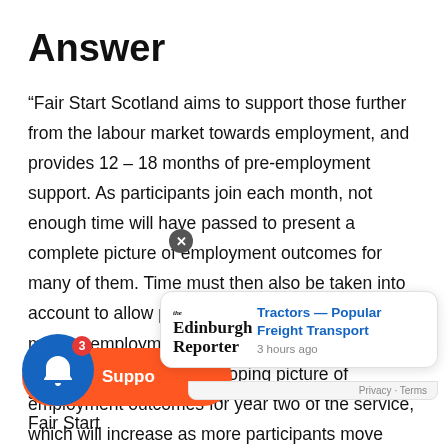Answer
“Fair Start Scotland aims to support those further from the labour market towards employment, and provides 12 – 18 months of pre-employment support. As participants join each month, not enough time will have passed to present a complete picture of employment outcomes for many of them. Time must then also be taken into account to allow participants to reach 3, 6 and 12 months employment. Each quarterly release of statistics presents a developing picture of employment outcomes for year two of the service, which will increase as more participants move through the service into work, and s…
show that, of the 27,076 people who started on Fair Start